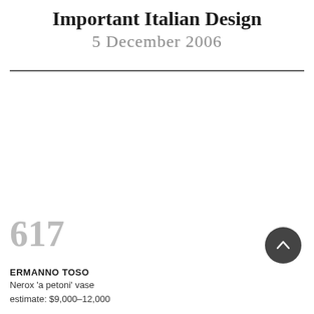Important Italian Design
5 December 2006
617
ERMANNO TOSO
Nerox 'a petoni' vase
estimate: $9,000–12,000